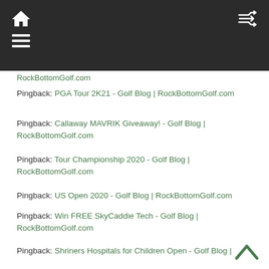RockBottomGolf.com (navigation bar)
RockBottomGolf.com (truncated link)
Pingback: PGA Tour 2K21 - Golf Blog | RockBottomGolf.com
Pingback: Callaway MAVRIK Giveaway! - Golf Blog | RockBottomGolf.com
Pingback: Tour Championship 2020 - Golf Blog | RockBottomGolf.com
Pingback: US Open 2020 - Golf Blog | RockBottomGolf.com
Pingback: Win FREE SkyCaddie Tech - Golf Blog | RockBottomGolf.com
Pingback: Shriners Hospitals for Children Open - Golf Blog | RockBottomGolf.com